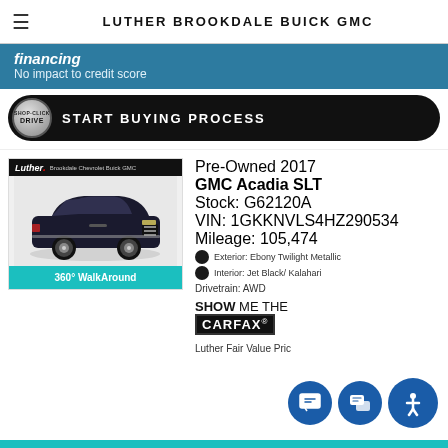LUTHER BROOKDALE BUICK GMC
financing
No impact to credit score
SHOP·CLICK DRIVE — START BUYING PROCESS
[Figure (photo): Photo of a dark blue/black GMC Acadia SLT SUV on a grey background, shown from a front 3/4 angle. Luther Brookdale Chevrolet Buick GMC branding at top. '360° WalkAround' teal banner at bottom.]
Pre-Owned 2017
GMC Acadia SLT
Stock: G62120A
VIN: 1GKKNVLS4HZ290534
Mileage: 105,474
Exterior: Ebony Twilight Metallic
Interior: Jet Black/ Kalahari
Drivetrain: AWD
[Figure (logo): SHOW ME THE CARFAX logo badge]
Luther Fair Value Pric...  $...